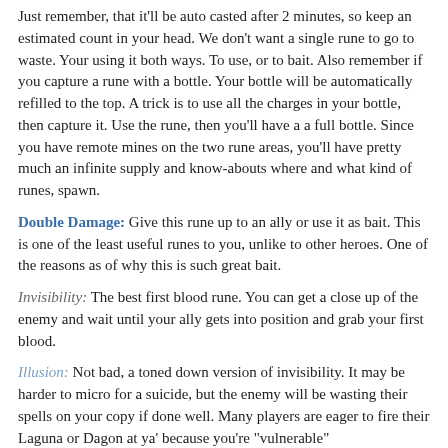Just remember, that it'll be auto casted after 2 minutes, so keep an estimated count in your head. We don't want a single rune to go to waste. Your using it both ways. To use, or to bait. Also remember if you capture a rune with a bottle. Your bottle will be automatically refilled to the top. A trick is to use all the charges in your bottle, then capture it. Use the rune, then you'll have a a full bottle. Since you have remote mines on the two rune areas, you'll have pretty much an infinite supply and know-abouts where and what kind of runes, spawn.
Double Damage: Give this rune up to an ally or use it as bait. This is one of the least useful runes to you, unlike to other heroes. One of the reasons as of why this is such great bait.
Invisibility: The best first blood rune. You can get a close up of the enemy and wait until your ally gets into position and grab your first blood.
Illusion: Not bad, a toned down version of invisibility. It may be harder to micro for a suicide, but the enemy will be wasting their spells on your copy if done well. Many players are eager to fire their Laguna or Dagon at ya' because you're "vulnerable"